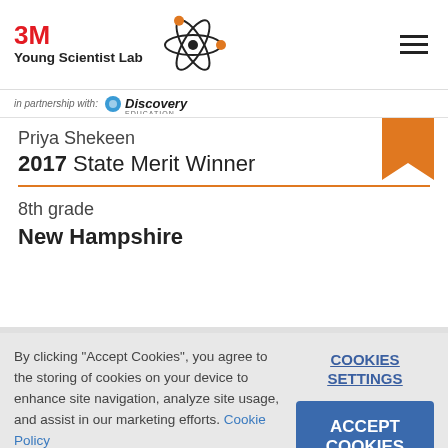[Figure (logo): 3M Young Scientist Lab logo with atom graphic and hamburger menu icon]
[Figure (logo): In partnership with Discovery Education logo]
Priya Shekeen
2017 State Merit Winner
8th grade
New Hampshire
By clicking "Accept Cookies", you agree to the storing of cookies on your device to enhance site navigation, analyze site usage, and assist in our marketing efforts. Cookie Policy
COOKIES SETTINGS
ACCEPT COOKIES